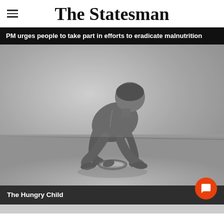The Statesman
PM urges people to take part in efforts to eradicate malnutrition
[Figure (photo): Black and white photograph of a thin young child crouching on the floor, leaning over a small metal bowl, eating food from it with their hand. The child is shirtless and barefoot.]
The Hungry Child